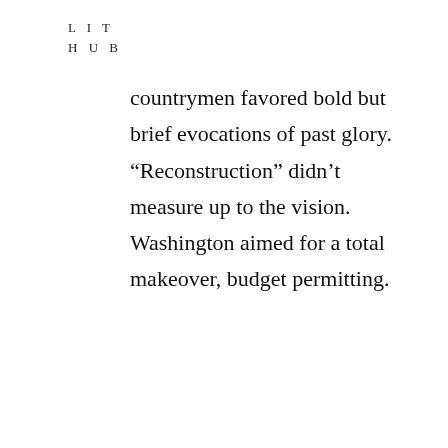L I T
H U B
countrymen favored bold but brief evocations of past glory. “Reconstruction” didn’t measure up to the vision. Washington aimed for a total makeover, budget permitting.